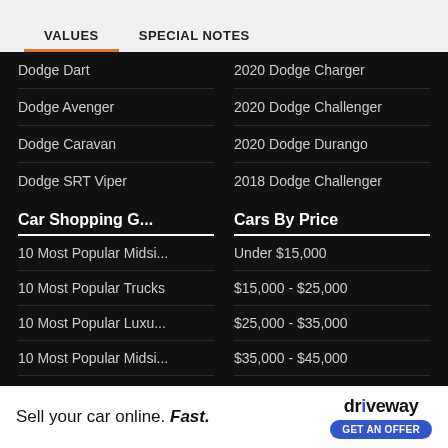VALUES   SPECIAL NOTES
Dodge Dart
2020 Dodge Charger
Dodge Avenger
2020 Dodge Challenger
Dodge Caravan
2020 Dodge Durango
Dodge SRT Viper
2018 Dodge Challenger
Car Shopping G...
Cars By Price
10 Most Popular Midsi...
Under $15,000
10 Most Popular Trucks
$15,000 - $25,000
10 Most Popular Luxu...
$25,000 - $35,000
10 Most Popular Midsi...
$35,000 - $45,000
10 Most Popular Hatc...
$45,000 - $55,000
Most Reliable 2017 Tr...
$55,000 - $65,000
Sell your car online. Fast.   driveway GET AN OFFER